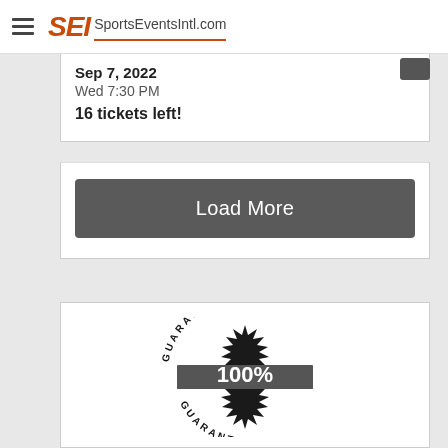SEI SportsEventsIntl.com
Sep 7, 2022
Wed 7:30 PM
16 tickets left!
Load More
[Figure (illustration): 100% Guarantee badge/stamp with circular text reading GUARANTEE around the top and bottom arcs, black starburst shape in center, and a dark ribbon banner across the middle displaying '100%' in large white text.]
100% Money-Back Guarantee